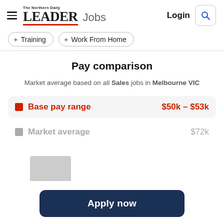The Northern Daily LEADER Jobs | Login
+ Training
+ Work From Home
Pay comparison
Market average based on all Sales jobs in Melbourne VIC
|  | Label | Value |
| --- | --- | --- |
| ■ | Base pay range | $50k – $53k |
| ■ | Market average | $72k |
[Figure (bar-chart): Partial bar chart showing a gray bar, likely representing market average salary distribution, cropped at bottom of page]
Apply now